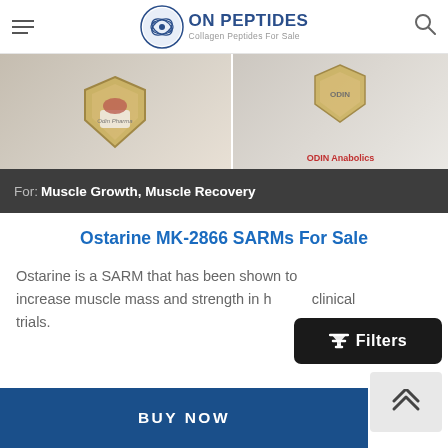ON PEPTIDES – Collagen Peptides For Sale
[Figure (photo): Two product images side by side showing supplement/pharma products with shield logos]
For: Muscle Growth, Muscle Recovery
Ostarine MK-2866 SARMs For Sale
Ostarine is a SARM that has been shown to increase muscle mass and strength in human clinical trials.